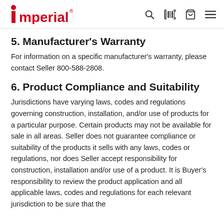Imperial
...
5. Manufacturer's Warranty
For information on a specific manufacturer's warranty, please contact Seller 800-588-2808.
6. Product Compliance and Suitability
Jurisdictions have varying laws, codes and regulations governing construction, installation, and/or use of products for a particular purpose. Certain products may not be available for sale in all areas. Seller does not guarantee compliance or suitability of the products it sells with any laws, codes or regulations, nor does Seller accept responsibility for construction, installation and/or use of a product. It is Buyer's responsibility to review the product application and all applicable laws, codes and regulations for each relevant jurisdiction to be sure that the